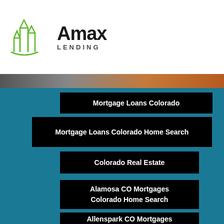[Figure (logo): Amax Lending logo with green building outline icon and bold black text 'Amax' above 'LENDING']
[Figure (photo): Narrow horizontal image strip showing Colorado landscape in dark and orange/brown tones]
Mortgage Loans Colorado
Mortgage Loans Colorado Home Search
Colorado Real Estate
Alamosa CO Mortgages Colorado Home Search
Allenspark CO Mortgages Colorado Home Search